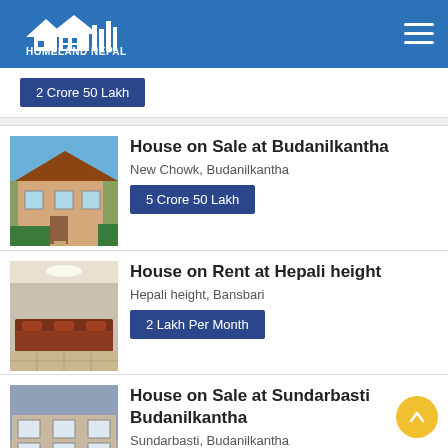Homeland Nepal
2 Crore 50 Lakh
House on Sale at Budanilkantha
New Chowk, Budanilkantha
5 Crore 50 Lakh
House on Rent at Hepali height
Hepali height, Bansbari
2 Lakh Per Month
House on Sale at Sundarbasti Budanilkantha
Sundarbasti, Budanilkantha